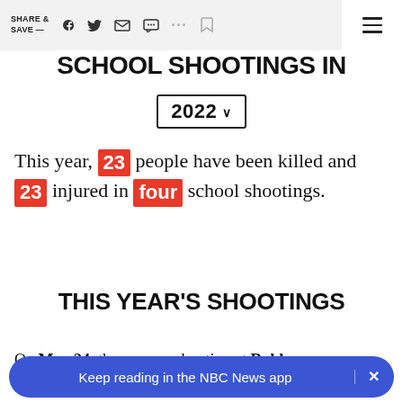SHARE & SAVE —  [Facebook] [Twitter] [Email] [Message] [...] [Bookmark]  [Menu]
SCHOOL SHOOTINGS IN 2022
This year, 23 people have been killed and 23 injured in four school shootings.
THIS YEAR'S SHOOTINGS
On May 24, there was a shooting at Robb E[lementary School...] the article about the shooting.